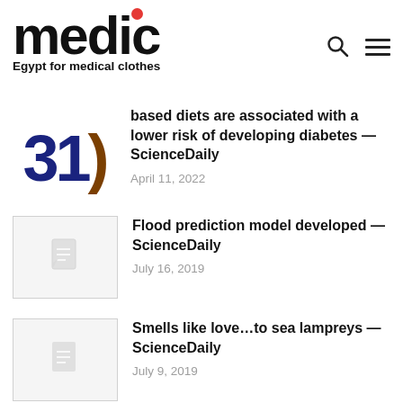medic — Egypt for medical clothes
based diets are associated with a lower risk of developing diabetes — ScienceDaily
April 11, 2022
Flood prediction model developed — ScienceDaily
July 16, 2019
Smells like love…to sea lampreys — ScienceDaily
July 9, 2019
Small mammals, including weasels,